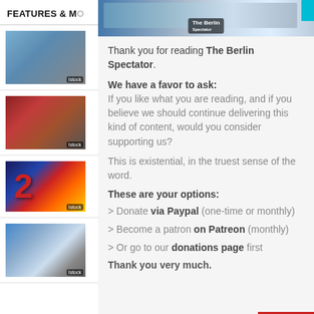FEATURES & MO
[Figure (photo): Thumbnail of a van in front of Brandenburg Gate]
[Figure (photo): Thumbnail of red cocktail drinks]
[Figure (photo): Thumbnail of a colorful question mark illustration]
[Figure (photo): Thumbnail of a street scene]
[Figure (photo): Top banner image of Berlin cityscape with The Berlin Spectator logo]
Thank you for reading The Berlin Spectator.
We have a favor to ask: If you like what you are reading, and if you believe we should continue delivering this kind of content, would you consider supporting us?
This is existential, in the truest sense of the word.
These are your options:
> Donate via Paypal (one-time or monthly)
> Become a patron on Patreon (monthly)
> Or go to our donations page first
Thank you very much.